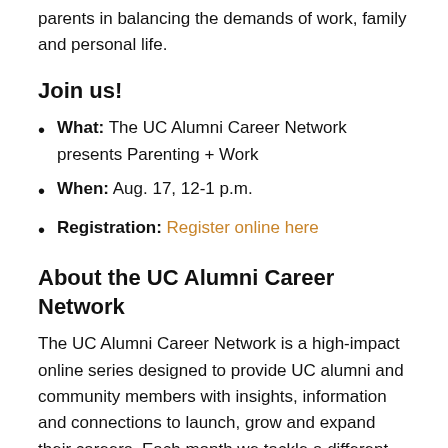parents in balancing the demands of work, family and personal life.
Join us!
What: The UC Alumni Career Network presents Parenting + Work
When: Aug. 17, 12-1 p.m.
Registration: Register online here
About the UC Alumni Career Network
The UC Alumni Career Network is a high-impact online series designed to provide UC alumni and community members with insights, information and connections to launch, grow and expand their careers. Each month we tackle a different career topic, providing insights and